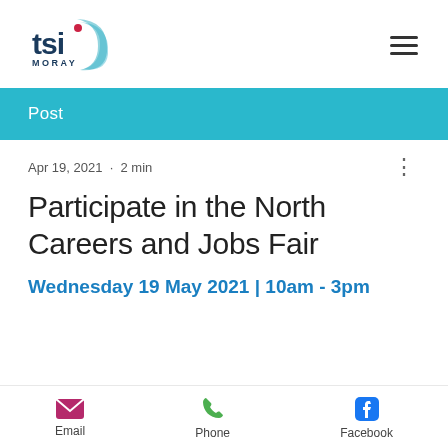[Figure (logo): TSI Moray logo with teal crescent shape and red dot]
Post
Apr 19, 2021 · 2 min
Participate in the North Careers and Jobs Fair
Wednesday 19 May 2021 | 10am - 3pm
Email   Phone   Facebook